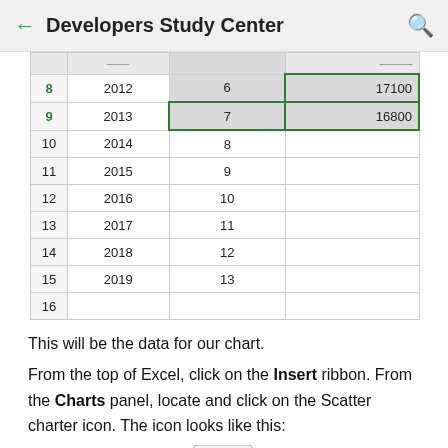← Developers Study Center 🔍
|  |  |  |  |
| --- | --- | --- | --- |
|  | ... |  | ... |
| 8 | 2012 | 6 | 17100 |
| 9 | 2013 | 7 | 16800 |
| 10 | 2014 | 8 |  |
| 11 | 2015 | 9 |  |
| 12 | 2016 | 10 |  |
| 13 | 2017 | 11 |  |
| 14 | 2018 | 12 |  |
| 15 | 2019 | 13 |  |
| 16 |  |  |  |
This will be the data for our chart.
From the top of Excel, click on the Insert ribbon. From the Charts panel, locate and click on the Scatter charter icon. The icon looks like this:
[Figure (screenshot): Scatter chart icon button from Excel toolbar]
Select the first item to get a chart with just dots: